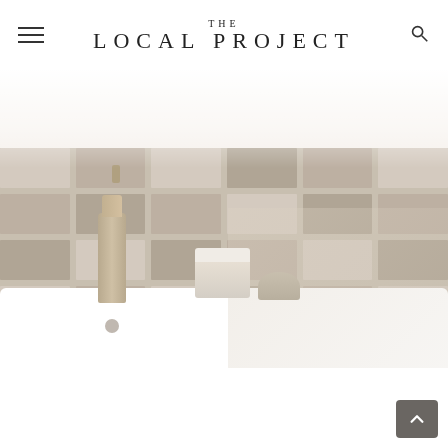THE LOCAL PROJECT
[Figure (photo): Bathroom scene showing a white bathtub ledge with a gold/bronze pump bottle, a woven/ceramic jar with white lid, and a small round container, against a beige/taupe rectangular tile backsplash. The image fades to white at the top.]